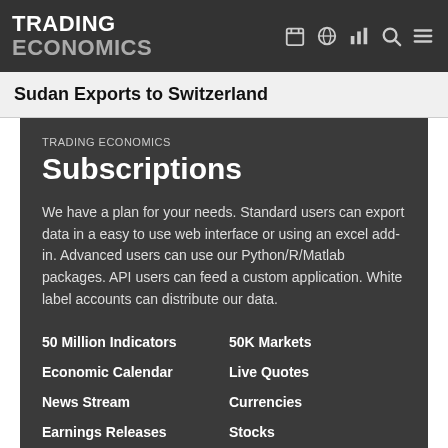TRADING ECONOMICS
Sudan Exports to Switzerland
TRADING ECONOMICS Subscriptions
We have a plan for your needs. Standard users can export data in a easy to use web interface or using an excel add-in. Advanced users can use our Python/R/Matlab packages. API users can feed a custom application. White label accounts can distribute our data.
50 Million Indicators
50K Markets
Economic Calendar
Live Quotes
News Stream
Currencies
Earnings Releases
Stocks
Credit Ratings
Commodities
Forecasts
Bonds